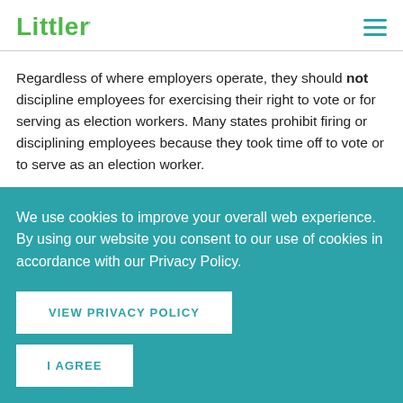Littler
Regardless of where employers operate, they should not discipline employees for exercising their right to vote or for serving as election workers. Many states prohibit firing or disciplining employees because they took time off to vote or to serve as an election worker.
Because some requirements mandate action within a specific
We use cookies to improve your overall web experience. By using our website you consent to our use of cookies in accordance with our Privacy Policy.
VIEW PRIVACY POLICY
I AGREE